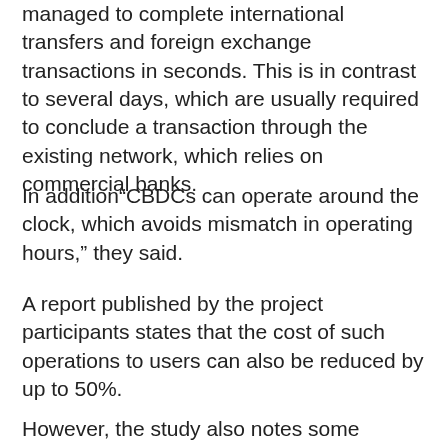managed to complete international transfers and foreign exchange transactions in seconds. This is in contrast to several days, which are usually required to conclude a transaction through the existing network, which relies on commercial banks.
In addition“CBDCs can operate around the clock, which avoids mismatch in operating hours,” they said.
A report published by the project participants states that the cost of such operations to users can also be reduced by up to 50%.
However, the study also notes some limitations